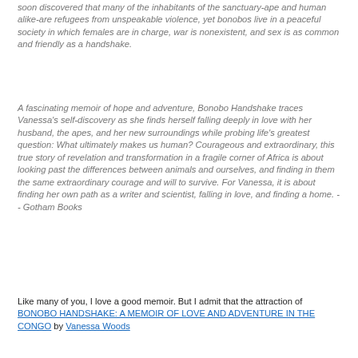soon discovered that many of the inhabitants of the sanctuary-ape and human alike-are refugees from unspeakable violence, yet bonobos live in a peaceful society in which females are in charge, war is nonexistent, and sex is as common and friendly as a handshake.
A fascinating memoir of hope and adventure, Bonobo Handshake traces Vanessa's self-discovery as she finds herself falling deeply in love with her husband, the apes, and her new surroundings while probing life's greatest question: What ultimately makes us human? Courageous and extraordinary, this true story of revelation and transformation in a fragile corner of Africa is about looking past the differences between animals and ourselves, and finding in them the same extraordinary courage and will to survive. For Vanessa, it is about finding her own path as a writer and scientist, falling in love, and finding a home. -- Gotham Books
Like many of you, I love a good memoir. But I admit that the attraction of BONOBO HANDSHAKE: A MEMOIR OF LOVE AND ADVENTURE IN THE CONGO by Vanessa Woods